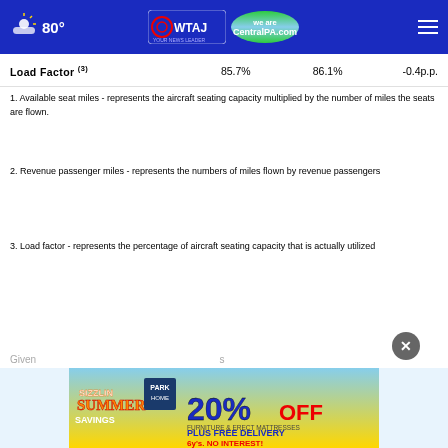80° WTAJ CentralPA.com
|  |  |  |  |
| --- | --- | --- | --- |
| Load Factor (3) | 85.7% | 86.1% | -0.4p.p. |
1.  Available seat miles - represents the aircraft seating capacity multiplied by the number of miles the seats are flown.
2.  Revenue passenger miles - represents the numbers of miles flown by revenue passengers
3.  Load factor - represents the percentage of aircraft seating capacity that is actually utilized
Given...s